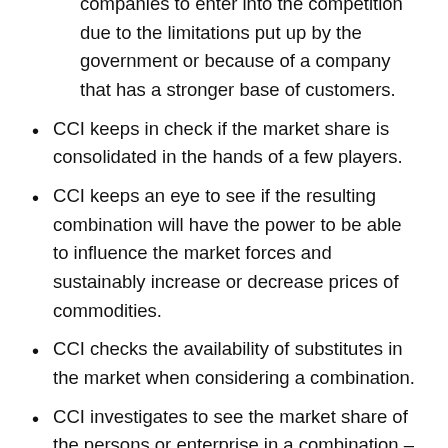companies to enter into the competition due to the limitations put up by the government or because of a company that has a stronger base of customers.
CCI keeps in check if the market share is consolidated in the hands of a few players.
CCI keeps an eye to see if the resulting combination will have the power to be able to influence the market forces and sustainably increase or decrease prices of commodities.
CCI checks the availability of substitutes in the market when considering a combination.
CCI investigates to see the market share of the persons or enterprise in a combination – individually and as a combination.
CCI analyzes the benefits that the economy shall get from